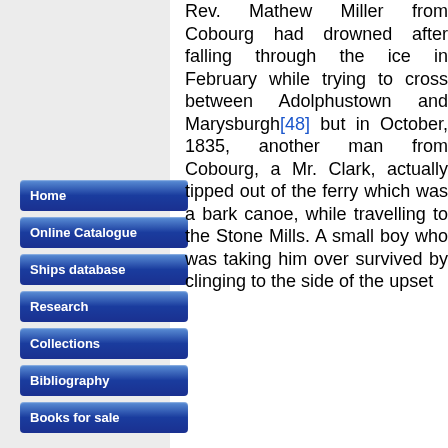Home
Online Catalogue
Ships database
Research
Collections
Bibliography
Books for sale
Rev. Mathew Miller from Cobourg had drowned after falling through the ice in February while trying to cross between Adolphustown and Marysburgh[48] but in October, 1835, another man from Cobourg, a Mr. Clark, actually tipped out of the ferry which was a bark canoe, while travelling to the Stone Mills. A small boy who was taking him over survived by clinging to the side of the upset